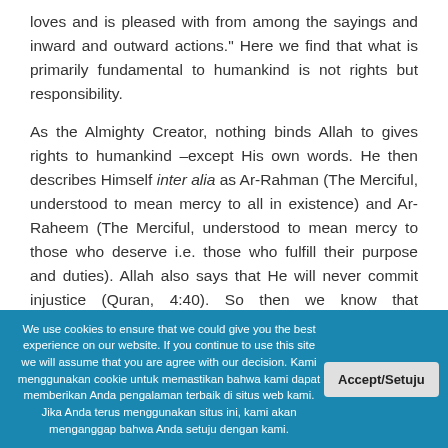loves and is pleased with from among the sayings and inward and outward actions." Here we find that what is primarily fundamental to humankind is not rights but responsibility.
As the Almighty Creator, nothing binds Allah to gives rights to humankind –except His own words. He then describes Himself inter alia as Ar-Rahman (The Merciful, understood to mean mercy to all in existence) and Ar-Raheem (The Merciful, understood to mean mercy to those who deserve i.e. those who fulfill their purpose and duties). Allah also says that He will never commit injustice (Quran, 4:40). So then we know that humankind also has rights which are fundamental
We use cookies to ensure that we could give you the best experience on our website. If you continue to use this site we will assume that you are agree with our decision. Kami menggunakan cookie untuk memastikan bahwa kami dapat memberikan Anda pengalaman terbaik di situs web kami. Jika Anda terus menggunakan situs ini, kami akan menganggap bahwa Anda setuju dengan kami.